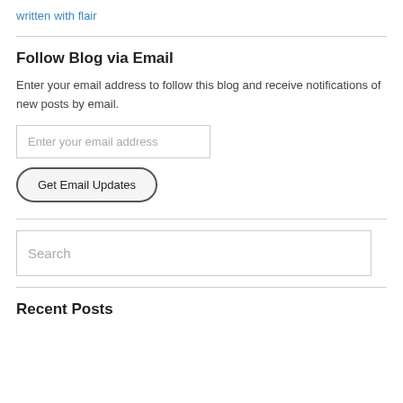written with flair
Follow Blog via Email
Enter your email address to follow this blog and receive notifications of new posts by email.
Enter your email address
Get Email Updates
Search
Recent Posts